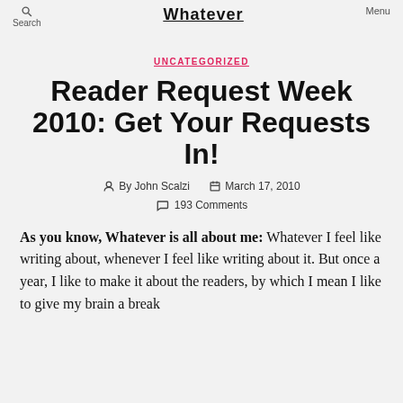Search   Whatever   Menu
UNCATEGORIZED
Reader Request Week 2010: Get Your Requests In!
By John Scalzi   March 17, 2010
193 Comments
As you know, Whatever is all about me: Whatever I feel like writing about, whenever I feel like writing about it. But once a year, I like to make it about the readers, by which I mean I like to give my brain a break